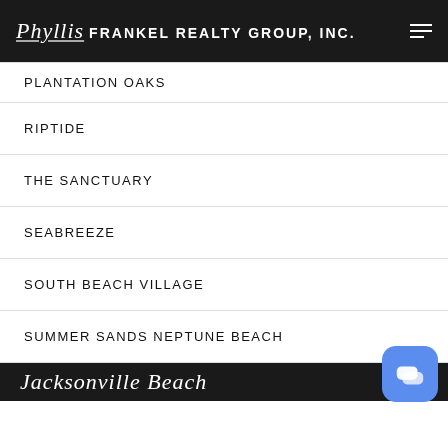Phyllis FRANKEL REALTY GROUP, INC.
PLANTATION OAKS
RIPTIDE
THE SANCTUARY
SEABREEZE
SOUTH BEACH VILLAGE
SUMMER SANDS NEPTUNE BEACH
Jacksonville Beach